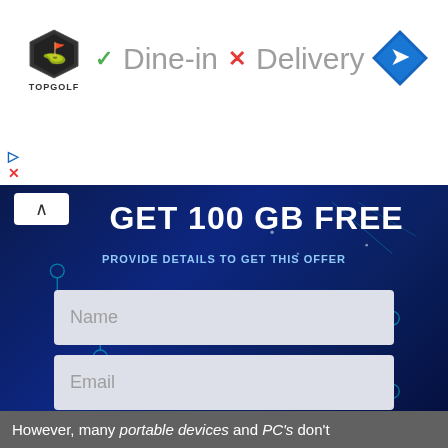[Figure (screenshot): Topgolf advertisement banner showing logo with Dine-in checkmark and Delivery X mark, plus a blue navigation direction diamond icon. Play and close icons visible on left.]
[Figure (screenshot): Dark blue tech/circuit board background promotional banner offering 'GET 100 GB FREE' with form fields for Name and Email, and an orange SUBMIT button. Collapse arrow button in top left.]
GET 100 GB FREE
PROVIDE DETAILS TO GET THIS OFFER
Name
Email
SUBMIT
However, many portable devices and PC's don't